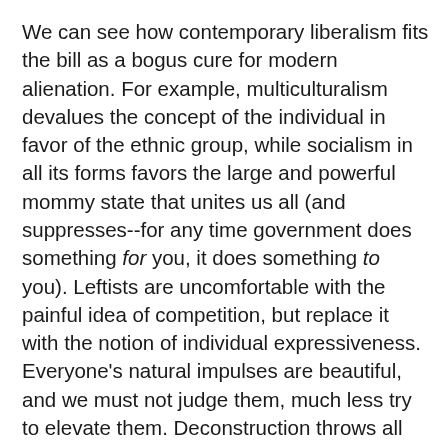We can see how contemporary liberalism fits the bill as a bogus cure for modern alienation. For example, multiculturalism devalues the concept of the individual in favor of the ethnic group, while socialism in all its forms favors the large and powerful mommy state that unites us all (and suppresses--for any time government does something for you, it does something to you). Leftists are uncomfortable with the painful idea of competition, but replace it with the notion of individual expressiveness. Everyone's natural impulses are beautiful, and we must not judge them, much less try to elevate them. Deconstruction throws all objective meaning into question, so no one has to have the disappointing experience of being wrong or denied tenure, no matter how stupid one's ideas. The burden of personal responsibility is mitigated, because one's being is determined by accidental factors such as race, class and gender, not one's owns values, decisions and actions. Skillful knowledge acquired by intense effort (or just being born smarter) is replaced by an obnoxious, hypertrophied adolescent skepticism that knows only how to question but not to learn. It is grounded in a sort of bovine materialism